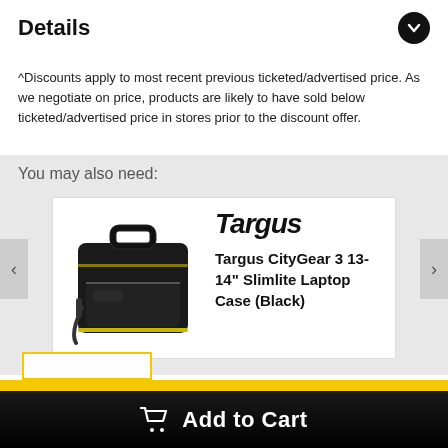Details
^Discounts apply to most recent previous ticketed/advertised price. As we negotiate on price, products are likely to have sold below ticketed/advertised price in stores prior to the discount offer.
You may also need:
[Figure (photo): Targus CityGear 3 laptop case product image showing a black laptop bag with yellow accents and shoulder strap]
Targus
Targus CityGear 3 13-14" Slimlite Laptop Case (Black)
Add to Cart